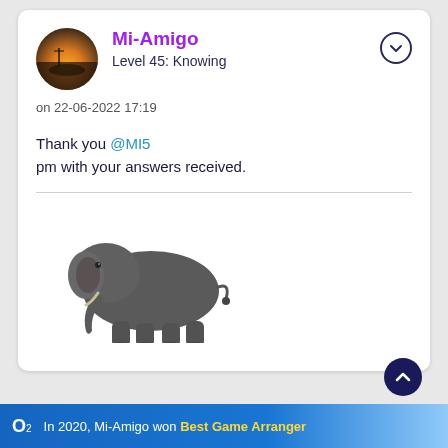Mi-Amigo
Level 45: Knowing
on 22-06-2022 17:19
Thank you @MI5
pm with your answers received.
[Figure (illustration): 3D rendered elephant walking, dark grey color on white background]
In 2020, Mi-Amigo won Best Game Arranger